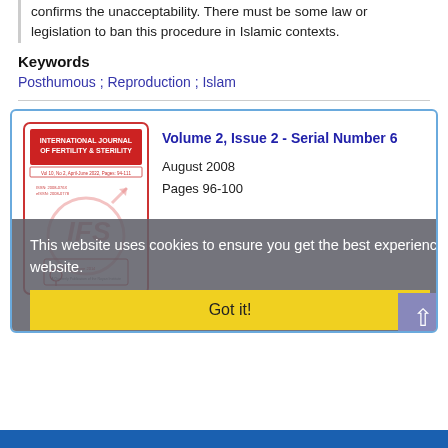confirms the unacceptability. There must be some law or legislation to ban this procedure in Islamic contexts.
Keywords
Posthumous ;  Reproduction ;  Islam
[Figure (other): Journal cover of International Journal of Fertility & Sterility with cookie consent overlay and back-to-top button. Volume 2, Issue 2 - Serial Number 6, August 2008, Pages 96-100.]